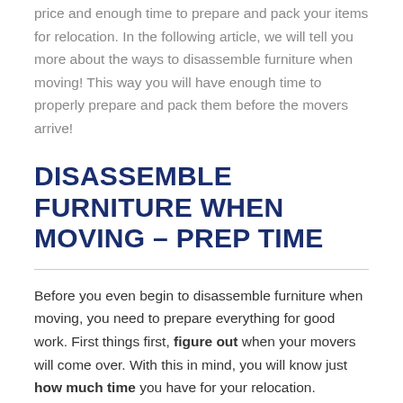price and enough time to prepare and pack your items for relocation. In the following article, we will tell you more about the ways to disassemble furniture when moving! This way you will have enough time to properly prepare and pack them before the movers arrive!
DISASSEMBLE FURNITURE WHEN MOVING – PREP TIME
Before you even begin to disassemble furniture when moving, you need to prepare everything for good work. First things first, figure out when your movers will come over. With this in mind, you will know just how much time you have for your relocation.